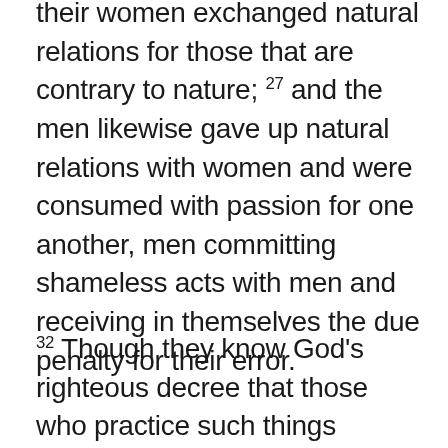their women exchanged natural relations for those that are contrary to nature; 27 and the men likewise gave up natural relations with women and were consumed with passion for one another, men committing shameless acts with men and receiving in themselves the due penalty for their error.
32 Though they know God's righteous decree that those who practice such things deserve to